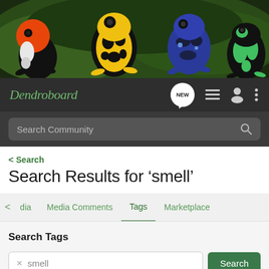[Figure (photo): Banner photo showing four colorful poison dart frogs on green foliage: red and black frog, yellow and black frog, blue and black frog, and green and black frog]
Dendroboard
Search Community
< Search
Search Results for ‘smell’
< dia   Media Comments   Tags   Marketplace
Search Tags
X smell   Search